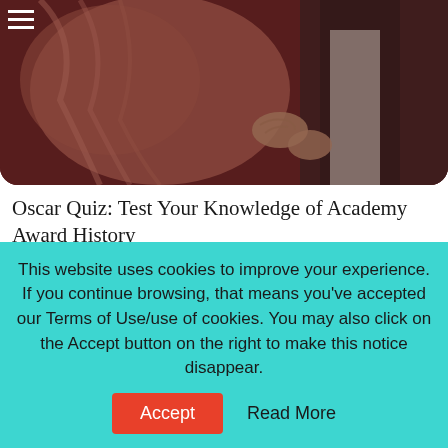[Figure (photo): A vintage/sepia-toned photo of a person in ornate clothing, cropped at top, showing hands and torso.]
Oscar Quiz: Test Your Knowledge of Academy Award History
[Figure (photo): A woman in a black bikini posing outdoors with a lattice/fence background.]
This website uses cookies to improve your experience. If you continue browsing, that means you've accepted our Terms of Use/use of cookies. You may also click on the Accept button on the right to make this notice disappear.
Accept
Read More